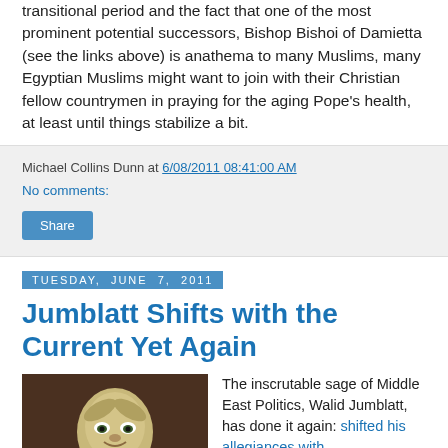transitional period and the fact that one of the most prominent potential successors, Bishop Bishoi of Damietta (see the links above) is anathema to many Muslims, many Egyptian Muslims might want to join with their Christian fellow countrymen in praying for the aging Pope's health, at least until things stabilize a bit.
Michael Collins Dunn at 6/08/2011 08:41:00 AM
No comments:
Tuesday, June 7, 2011
Jumblatt Shifts with the Current Yet Again
[Figure (photo): Photo of Yoda from Star Wars, used as a satirical stand-in for Walid Jumblatt]
The inscrutable sage of Middle East Politics, Walid Jumblatt, has done it again: shifted his allegiances with